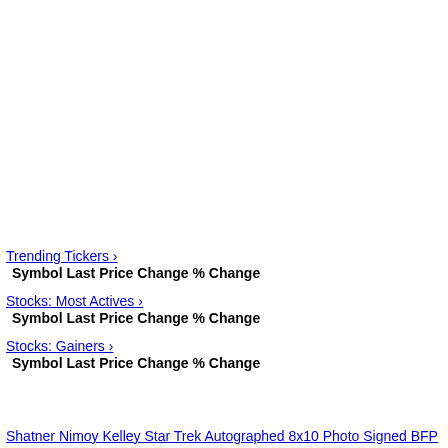Trending Tickers ›
Symbol Last Price Change % Change
Stocks: Most Actives ›
Symbol Last Price Change % Change
Stocks: Gainers ›
Symbol Last Price Change % Change
Shatner Nimoy Kelley Star Trek Autographed 8x10 Photo Signed BFP